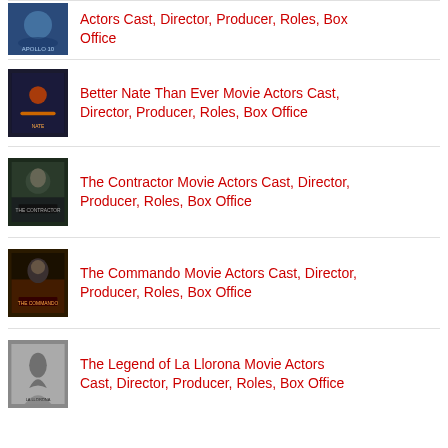Actors Cast, Director, Producer, Roles, Box Office
Better Nate Than Ever Movie Actors Cast, Director, Producer, Roles, Box Office
The Contractor Movie Actors Cast, Director, Producer, Roles, Box Office
The Commando Movie Actors Cast, Director, Producer, Roles, Box Office
The Legend of La Llorona Movie Actors Cast, Director, Producer, Roles, Box Office